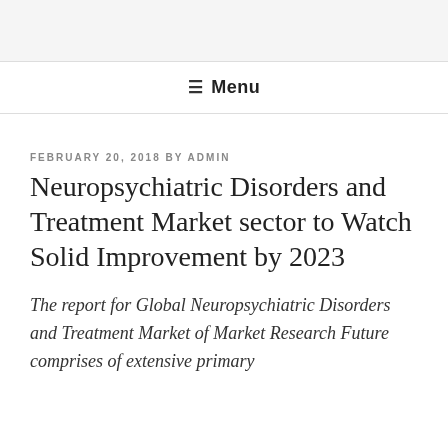≡ Menu
FEBRUARY 20, 2018 BY ADMIN
Neuropsychiatric Disorders and Treatment Market sector to Watch Solid Improvement by 2023
The report for Global Neuropsychiatric Disorders and Treatment Market of Market Research Future comprises of extensive primary